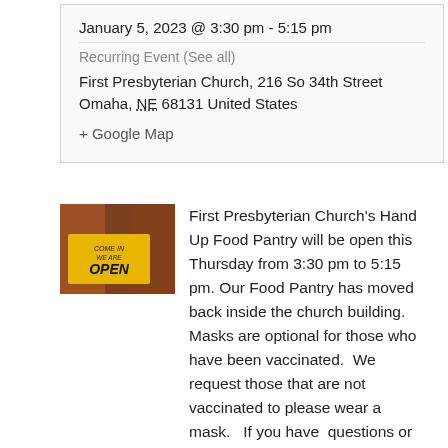January 5, 2023 @ 3:30 pm - 5:15 pm
Recurring Event (See all)
First Presbyterian Church, 216 So 34th Street
Omaha, NE 68131 United States
+ Google Map
[Figure (photo): A yellow OPEN sign reading 'COME IN WE ARE OPEN' against a dark background]
First Presbyterian Church's Hand Up Food Pantry will be open this Thursday from 3:30 pm to 5:15 pm. Our Food Pantry has moved back inside the church building.  Masks are optional for those who have been vaccinated.  We request those that are not vaccinated to please wear a mask.   If you have  questions or